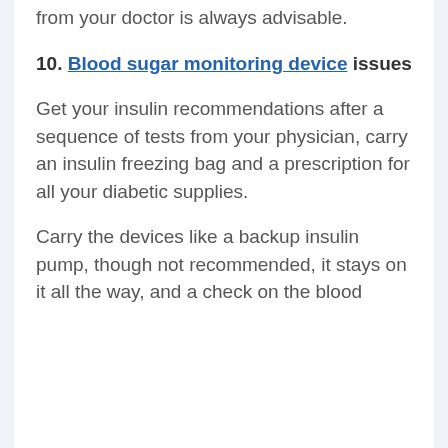across the world, personal advice from your doctor is always advisable.
10. Blood sugar monitoring device issues
Get your insulin recommendations after a sequence of tests from your physician, carry an insulin freezing bag and a prescription for all your diabetic supplies.
Carry the devices like a backup insulin pump, though not recommended, it stays on it all the way, and a check on the blood